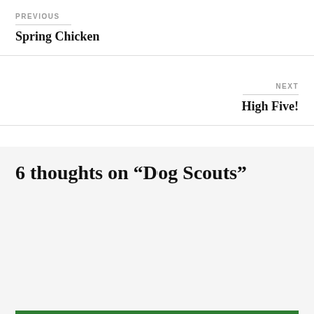PREVIOUS
Spring Chicken
NEXT
High Five!
6 thoughts on “Dog Scouts”
Privacy & Cookies: This site uses cookies. By continuing to use this website, you agree to their use.
To find out more, including how to control cookies, see here: Cookie Policy
Close and accept